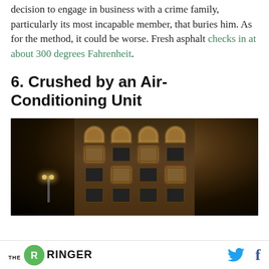decision to engage in business with a crime family, particularly its most incapable member, that buries him. As for the method, it could be worse. Fresh asphalt checks in at about 300 degrees Fahrenheit.
6. Crushed by an Air-Conditioning Unit
[Figure (photo): Night photograph of a multi-story brick building with arched windows on the top floor and rectangular windows on lower floors, lit warmly from inside. A street lamp glows in the foreground lower left.]
THE RINGER